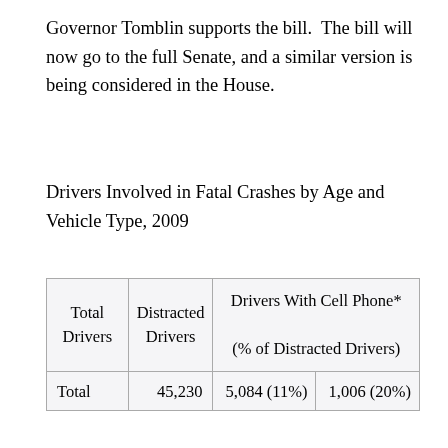Governor Tomblin supports the bill.  The bill will now go to the full Senate, and a similar version is being considered in the House.
Drivers Involved in Fatal Crashes by Age and Vehicle Type, 2009
| Total Drivers | Distracted Drivers | Drivers With Cell Phone* (% of Distracted Drivers) |
| --- | --- | --- |
| Total | 45,230 | 5,084 (11%) | 1,006 (20%) |